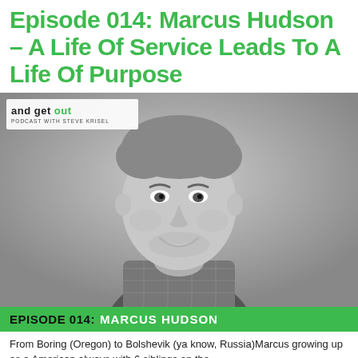Episode 014: Marcus Hudson – A Life Of Service Leads To A Life Of Purpose
[Figure (photo): Black and white headshot photo of Marcus Hudson, a young man with short hair smiling, wearing a plaid shirt. The photo has a podcast logo overlay in the upper left corner reading 'and get out PODCAST WITH STEVE KRISEL'.]
EPISODE 014: MARCUS HUDSON
From Boring (Oregon) to Bolshevik (ya know, Russia)Marcus growing up as a American always with 6 siblings on the...